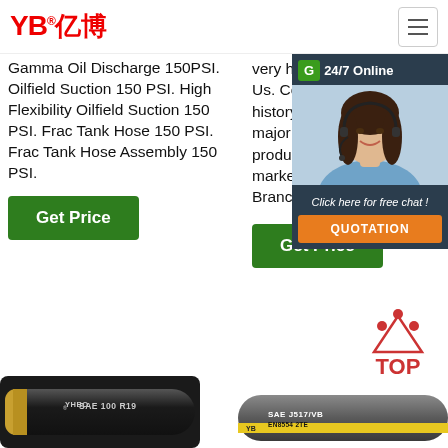YB® 亿博
Gamma Oil Discharge 150PSI. Oilfield Suction 150 PSI. High Flexibility Oilfield Suction 150 PSI. Frac Tank Hose 150 PSI. Frac Tank Hose Assembly 150 PSI.
very high pressures. About Us. Company profile and history. Divisions. Four major segments, wide product range for every market and application. Branches.
[Figure (infographic): 24/7 Online chat panel with customer service representative photo, 'Click here for free chat!' text, and orange QUOTATION button]
[Figure (infographic): TOP button with red triangle dots icon and TOP text in red]
[Figure (photo): YHBO SAE 100 R19 dark hydraulic hose with gold end cap]
[Figure (photo): SAE J517/VB EN8554 2TE gray hydraulic hose with yellow stripe, YB branding]